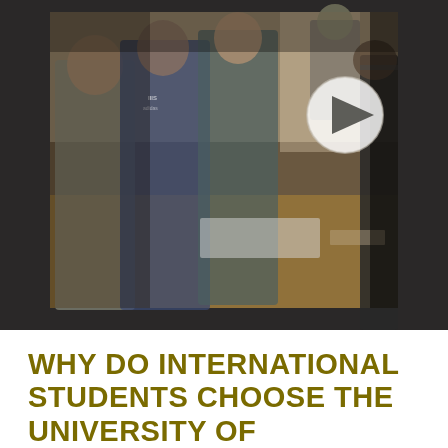[Figure (photo): Group of international students standing around a wooden table in a classroom or meeting room setting. A play button overlay (circle with triangle) is visible on the right side of the image, indicating this is a video thumbnail. A clock is visible on the wall in the background.]
WHY DO INTERNATIONAL STUDENTS CHOOSE THE UNIVERSITY OF MINNESOTA